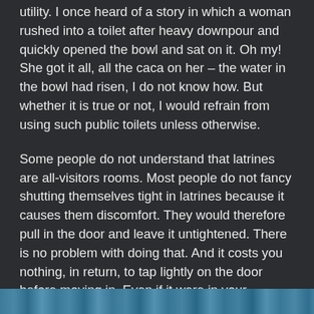utility. I once heard of a story in which a woman rushed into a toilet after heavy downpour and quickly opened the bowl and sat on it. Oh my! She got it all, all the caca on her – the water in the bowl had risen, I do not know how. But whether it is true or not, I would refrain from using such public toilets unless otherwise.
Some people do not understand that latrines are all-visitors rooms. Most people do not fancy shutting themselves tight in latrines because it causes them discomfort. They would therefore pull in the door and leave it untightened. There is no problem with doing that. And it costs you nothing, in return, to tap lightly on the door before moving in. Even if it were in your homestead, etiquette would still demand that you knock. Just knock, and when you hear that slim faint voice, wait or walk up to another.
[Figure (photo): A colorful strip at the bottom of the page, appearing to show a blurred or abstract image with blue and teal tones.]